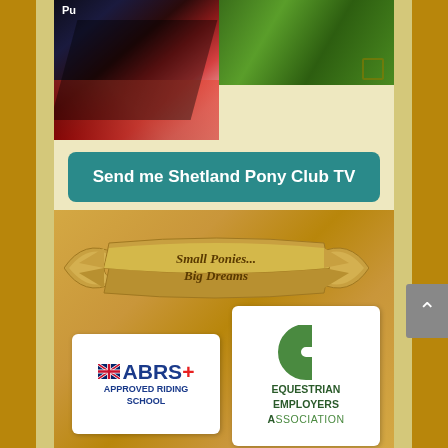[Figure (photo): Two photos at top: left shows a colorful tent/rug scene with partial text 'Pu', right shows a green outdoor/grass scene]
Send me Shetland Pony Club TV
[Figure (illustration): Decorative banner ribbon illustration with text 'Small Ponies... Big Dreams' in italic script on a golden/tan ribbon with wing-like decorations]
[Figure (logo): ABRS+ Approved Riding School logo - white background with UK flag, bold blue ABRS+ text, and subtitle 'APPROVED RIDING SCHOOL']
[Figure (logo): Equestrian Employers Association logo - white background with green horseshoe icon and text 'EQUESTRIAN EMPLOYERS ASSOCIATION']